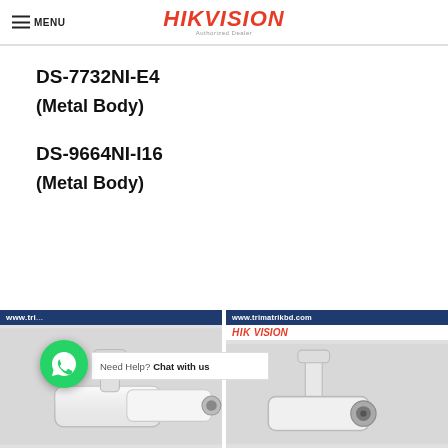MENU | HIKVISION Authorized Dealer
DS-7732NI-E4
(Metal Body)
DS-9664NI-I16
(Metal Body)
[Figure (photo): Two product images showing Hikvision cameras with website URL www.trimatrikbd.com, with a WhatsApp chat button overlay and 'Need Help? Chat with us' bar]